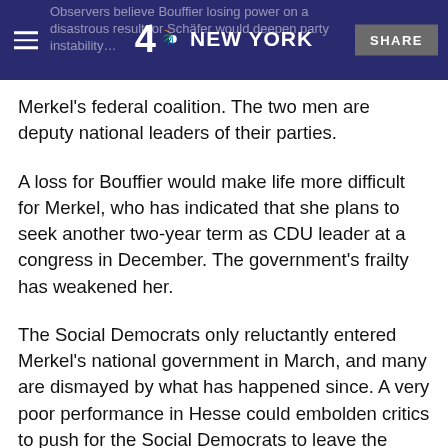4 NBC NEW YORK | SHARE
Merkel's federal coalition. The two men are deputy national leaders of their parties.
A loss for Bouffier would make life more difficult for Merkel, who has indicated that she plans to seek another two-year term as CDU leader at a congress in December. The government's frailty has weakened her.
The Social Democrats only reluctantly entered Merkel's national government in March, and many are dismayed by what has happened since. A very poor performance in Hesse could embolden critics to push for the Social Democrats to leave the federal coalition, and endanger the job of party leader Andrea Nahles.